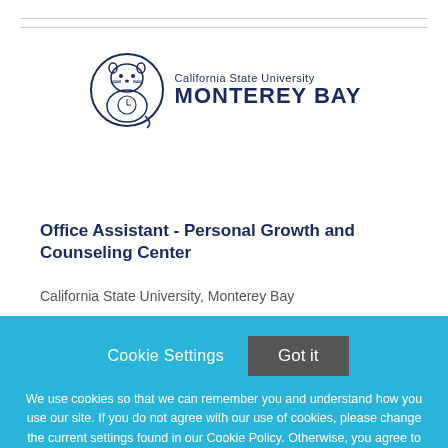[Figure (logo): California State University Monterey Bay logo with sea otter graphic and university name]
Office Assistant - Personal Growth and Counseling Center
California State University, Monterey Bay
Cookie Settings  Got it
We use cookies so that we can remember you and understand how you use our site. If you do not agree with our use of cookies, please change the current settings found in our Cookie Policy. Otherwise, you agree to the use of the cookies as they are currently set.